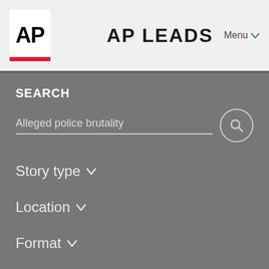AP LEADS  Menu
SEARCH
Alleged police brutality
Story type
Location
Format
Date Range